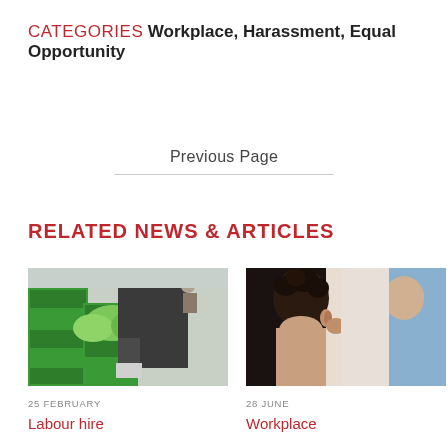CATEGORIES Workplace, Harassment, Equal Opportunity
Previous Page
RELATED NEWS & ARTICLES
[Figure (photo): Person in a dark sweater picking green vegetables from green crates at an outdoor market or farm]
25 FEBRUARY
Labour hire
[Figure (photo): Close-up of a person with curly dark hair facing away, with another person in a light blue shirt in the background — workplace scene]
28 JUNE
Workplace